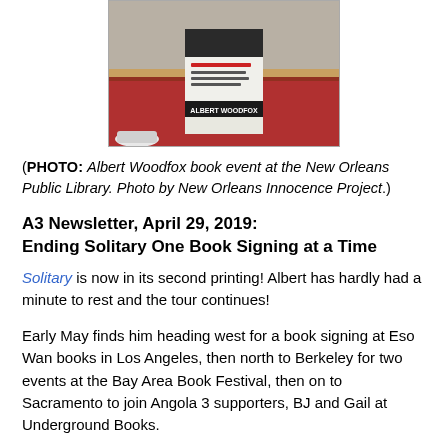[Figure (photo): A book by Albert Woodfox titled 'Solitary' propped up on a red/brown table at a book event at the New Orleans Public Library.]
(PHOTO: Albert Woodfox book event at the New Orleans Public Library. Photo by New Orleans Innocence Project.)
A3 Newsletter, April 29, 2019:
Ending Solitary One Book Signing at a Time
Solitary is now in its second printing! Albert has hardly had a minute to rest and the tour continues!
Early May finds him heading west for a book signing at Eso Wan books in Los Angeles, then north to Berkeley for two events at the Bay Area Book Festival, then on to Sacramento to join Angola 3 supporters, BJ and Gail at Underground Books.